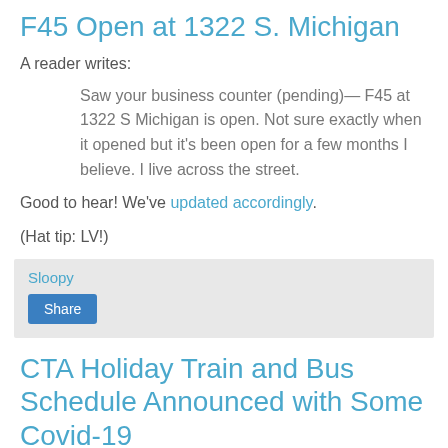F45 Open at 1322 S. Michigan
A reader writes:
Saw your business counter (pending)— F45 at 1322 S Michigan is open. Not sure exactly when it opened but it's been open for a few months I believe. I live across the street.
Good to hear!  We've updated accordingly.
(Hat tip:  LV!)
Sloopy
Share
CTA Holiday Train and Bus Schedule Announced with Some Covid-19